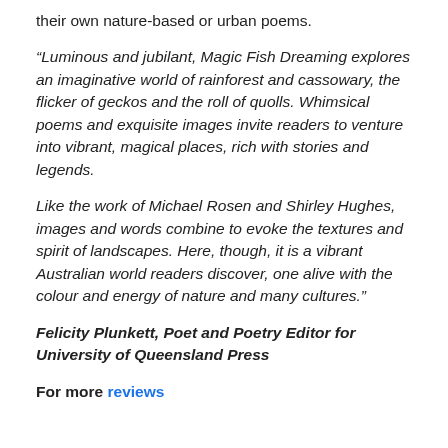their own nature-based or urban poems.
“Luminous and jubilant, Magic Fish Dreaming explores an imaginative world of rainforest and cassowary, the flicker of geckos and the roll of quolls. Whimsical poems and exquisite images invite readers to venture into vibrant, magical places, rich with stories and legends.
Like the work of Michael Rosen and Shirley Hughes, images and words combine to evoke the textures and spirit of landscapes. Here, though, it is a vibrant Australian world readers discover, one alive with the colour and energy of nature and many cultures.”
Felicity Plunkett, Poet and Poetry Editor for University of Queensland Press
For more reviews